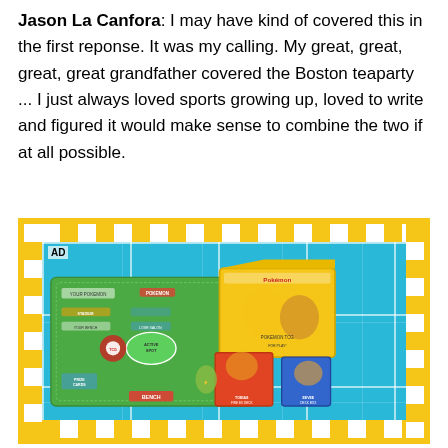Jason La Canfora: I may have kind of covered this in the first reponse. It was my calling. My great, great, great, great grandfather covered the Boston teaparty ... I just always loved sports growing up, loved to write and figured it would make sense to combine the two if at all possible.
[Figure (photo): Advertisement showing a Pokemon Trading Card Game product — a game mat showing game zones (Prize Cards, Bench, Active Spot, Your Pokemon), a large yellow Pokemon TCG box featuring Pikachu and Eevee, plus smaller orange and blue card deck boxes. The ad has a yellow and white checkerboard border on a blue dotted background. 'AD' label in top left.]